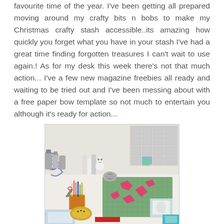favourite time of the year. I've been getting all prepared moving around my crafty bits n bobs to make my Christmas crafty stash accessible..its amazing how quickly you forget what you have in your stash I've had a great time finding forgotten treasures I can't wait to use again.! As for my desk this week there's not that much action... I've a few new magazine freebies all ready and waiting to be tried out and I've been messing about with a free paper bow template so not much to entertain you although it's ready for action...
[Figure (photo): A crafting desk covered with supplies including scissors, pens, tape, figurines, a cutting mat with pink paper cutouts, and storage organizers in the background.]